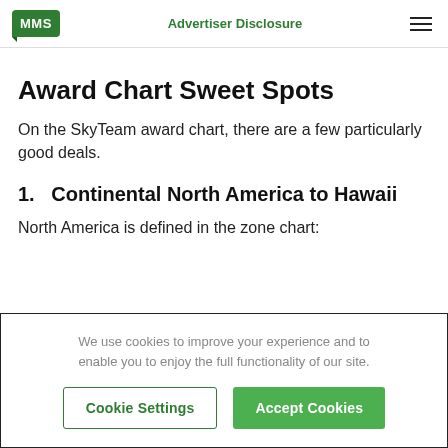MMS | Advertiser Disclosure
Award Chart Sweet Spots
On the SkyTeam award chart, there are a few particularly good deals.
1.   Continental North America to Hawaii
North America is defined in the zone chart:
We use cookies to improve your experience and to enable you to enjoy the full functionality of our site.